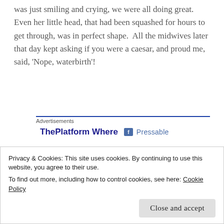was just smiling and crying, we were all doing great. Even her little head, that had been squashed for hours to get through, was in perfect shape. All the midwives later that day kept asking if you were a caesar, and proud me, said, 'Nope, waterbirth'!
[Figure (screenshot): Advertisement block with blue top border. Label reads 'Advertisements'. Contains bold blue text 'ThePlatform Where' and a partially visible badge/icon with text 'Pressable'.]
After all that, we had our little Margo and we were in love! She was gorgeous and healthy. My whole body
Privacy & Cookies: This site uses cookies. By continuing to use this website, you agree to their use.
To find out more, including how to control cookies, see here: Cookie Policy
Close and accept